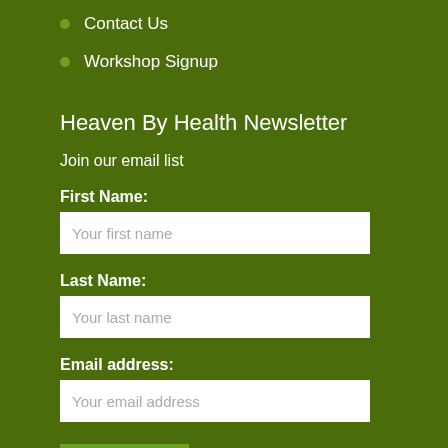Contact Us
Workshop Signup
Heaven By Health Newsletter
Join our email list
First Name:
Your first name
Last Name:
Your last name
Email address:
Your email address
Sign up